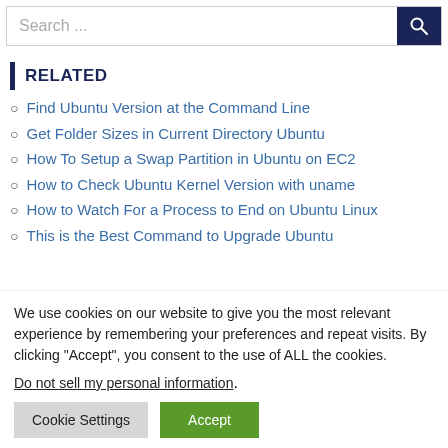[Figure (other): Search bar with text input showing 'Search ...' placeholder and a dark navy search button with magnifying glass icon]
RELATED
Find Ubuntu Version at the Command Line
Get Folder Sizes in Current Directory Ubuntu
How To Setup a Swap Partition in Ubuntu on EC2
How to Check Ubuntu Kernel Version with uname
How to Watch For a Process to End on Ubuntu Linux
This is the Best Command to Upgrade Ubuntu
We use cookies on our website to give you the most relevant experience by remembering your preferences and repeat visits. By clicking “Accept”, you consent to the use of ALL the cookies.
Do not sell my personal information.